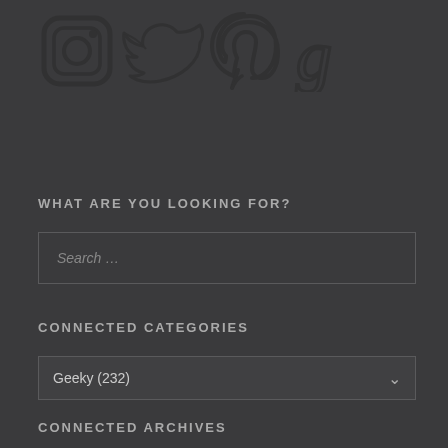[Figure (illustration): Social media icons: Instagram, Twitter, Pinterest, Goodreads — drawn in dark sketch style on dark background]
WHAT ARE YOU LOOKING FOR?
Search ...
CONNECTED CATEGORIES
Geeky (232)
CONNECTED ARCHIVES